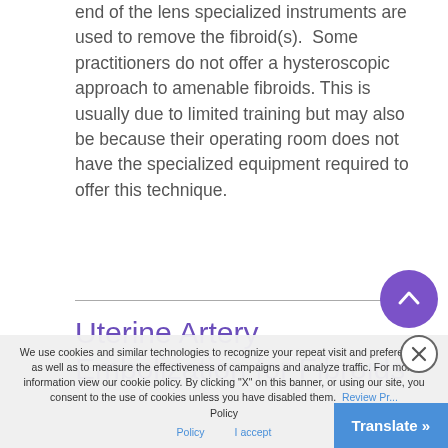end of the lens specialized instruments are used to remove the fibroid(s). Some practitioners do not offer a hysteroscopic approach to amenable fibroids. This is usually due to limited training but may also be because their operating room does not have the specialized equipment required to offer this technique.
Uterine Artery Embolization for Fibroids
We use cookies and similar technologies to recognize your repeat visit and preferences, as well as to measure the effectiveness of campaigns and analyze traffic. For more information view our cookie policy. By clicking "X" on this banner, or using our site, you consent to the use of cookies unless you have disabled them. Review Privacy Policy | I accept